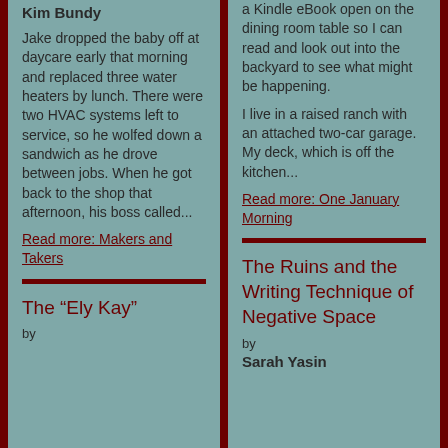Kim Bundy
Jake dropped the baby off at daycare early that morning and replaced three water heaters by lunch. There were two HVAC systems left to service, so he wolfed down a sandwich as he drove between jobs. When he got back to the shop that afternoon, his boss called...
Read more: Makers and Takers
The “Ely Kay”
by
a Kindle eBook open on the dining room table so I can read and look out into the backyard to see what might be happening.
I live in a raised ranch with an attached two-car garage. My deck, which is off the kitchen...
Read more: One January Morning
The Ruins and the Writing Technique of Negative Space
by
Sarah Yasin